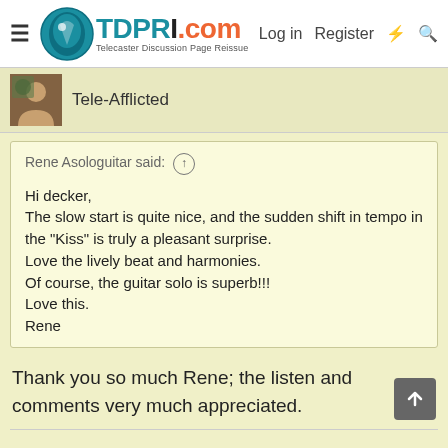TDPRI.com — Telecaster Discussion Page Reissue | Log in | Register
Tele-Afflicted
Rene Asologuitar said: ↑

Hi decker,
The slow start is quite nice, and the sudden shift in tempo in the "Kiss" is truly a pleasant surprise.
Love the lively beat and harmonies.
Of course, the guitar solo is superb!!!
Love this.
Rene
Thank you so much Rene; the listen and comments very much appreciated.